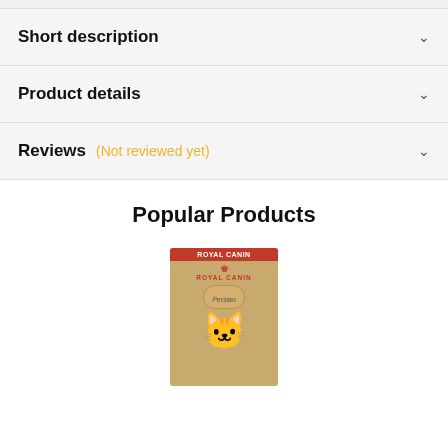Short description
Product details
Reviews (Not reviewed yet)
Popular Products
[Figure (photo): Royal Canin Persian cat food product bag in golden/tan packaging with red Royal Canin logo and crown, showing a Persian cat illustration]